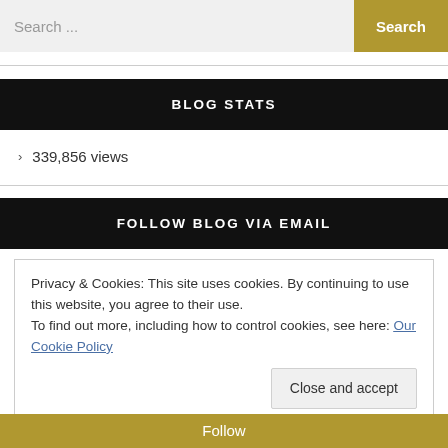Search ...  Search
BLOG STATS
> 339,856 views
FOLLOW BLOG VIA EMAIL
Privacy & Cookies: This site uses cookies. By continuing to use this website, you agree to their use.
To find out more, including how to control cookies, see here: Our Cookie Policy
Close and accept
Follow